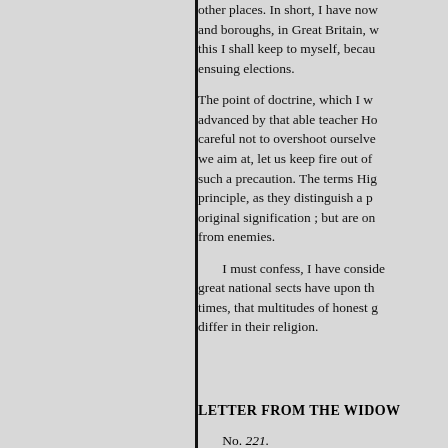other places. In short, I have now and boroughs, in Great Britain, w this I shall keep to myself, becau ensuing elections.
The point of doctrine, which I w advanced by that able teacher Ho careful not to overshoot ourselve we aim at, let us keep fire out of such a precaution. The terms Hig principle, as they distinguish a p original signification ; but are on from enemies.
I must confess, I have conside great national sects have upon th times, that multitudes of honest g differ in their religion.
LETTER FROM THE WIDOW
No. 221.
6 MR. BICKERSTAFFE,